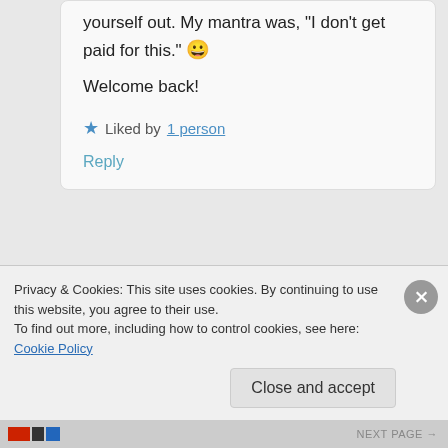yourself out. My mantra was, "I don't get paid for this." 😀

Welcome back!
★ Liked by 1 person
Reply
LizScanlon
August 23, 2017 at 3:06 pm

I think you should totally treat yourself to a hair salon trip… I
Privacy & Cookies: This site uses cookies. By continuing to use this website, you agree to their use.
To find out more, including how to control cookies, see here: Cookie Policy
Close and accept